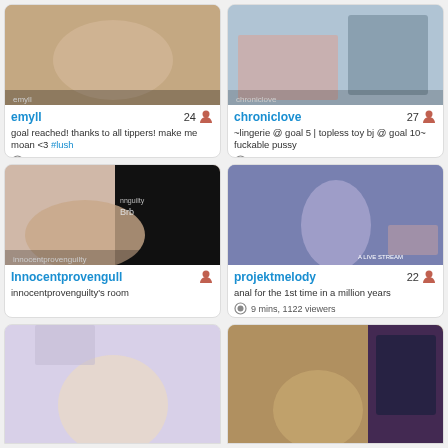[Figure (photo): Thumbnail for emyll stream]
emyll 24
goal reached! thanks to all tippers! make me moan <3 #lush
2.5 hrs, 2834 viewers
[Figure (photo): Thumbnail for chroniclove stream]
chroniclove 27
~lingerie @ goal 5 | topless toy bj @ goal 10~ fuckable pussy
2.7 hrs, 4923 viewers
[Figure (photo): Thumbnail for innocentprovengull stream]
Innocentprovengull
innocentprovenguilty's room
4.3 hrs, 5681 viewers
[Figure (photo): Thumbnail for projektmelody stream]
projektmelody 22
anal for the 1st time in a million years
9 mins, 1122 viewers
[Figure (photo): Thumbnail for bottom-left stream]
[Figure (photo): Thumbnail for bottom-right stream]